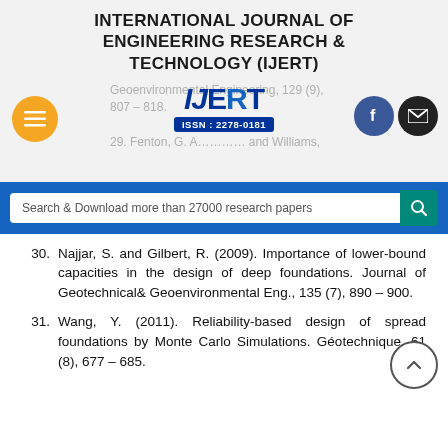INTERNATIONAL JOURNAL OF ENGINEERING RESEARCH & TECHNOLOGY (IJERT)
Geoenvironmental Engineering, 129 (9), 807 – 818.
[Figure (logo): IJERT logo with ISSN: 2278-0181]
Search & Download more than 27000 research papers
30. Najjar, S. and Gilbert, R. (2009). Importance of lower-bound capacities in the design of deep foundations. Journal of Geotechnical& Geoenvironmental Eng., 135 (7), 890 – 900.
31. Wang, Y. (2011). Reliability-based design of spread foundations by Monte Carlo Simulations. Géotechnique, 61 (8), 677 – 685.